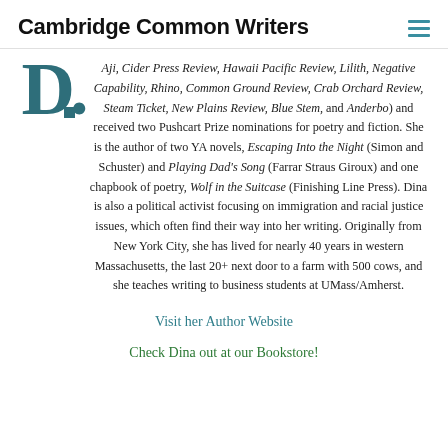Cambridge Common Writers
Aji, Cider Press Review, Hawaii Pacific Review, Lilith, Negative Capability, Rhino, Common Ground Review, Crab Orchard Review, Steam Ticket, New Plains Review, Blue Stem, and Anderbo) and received two Pushcart Prize nominations for poetry and fiction. She is the author of two YA novels, Escaping Into the Night (Simon and Schuster) and Playing Dad’s Song (Farrar Straus Giroux) and one chapbook of poetry, Wolf in the Suitcase (Finishing Line Press). Dina is also a political activist focusing on immigration and racial justice issues, which often find their way into her writing. Originally from New York City, she has lived for nearly 40 years in western Massachusetts, the last 20+ next door to a farm with 500 cows, and she teaches writing to business students at UMass/Amherst.
Visit her Author Website
Check Dina out at our Bookstore!